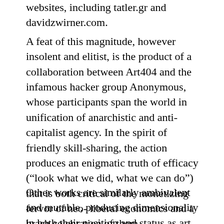websites, including tatler.gr and davidzwirner.com.
A feat of this magnitude, however insolent and elitist, is the product of a collaboration between Art404 and the infamous hacker group Anonymous, whose participants span the world in unification of anarchistic and anti-capitalist agency. In the spirit of friendly skill-sharing, the action produces an enigmatic truth of efficacy (“look what we did, what we can do”) that is both critical of the monetizing fervor of neo-liberal economics and a brash celebration of them.
Other works are similarly ambivalent and mutable, producing dimensionality in both their position and status as art objects, performances, documentation and/or